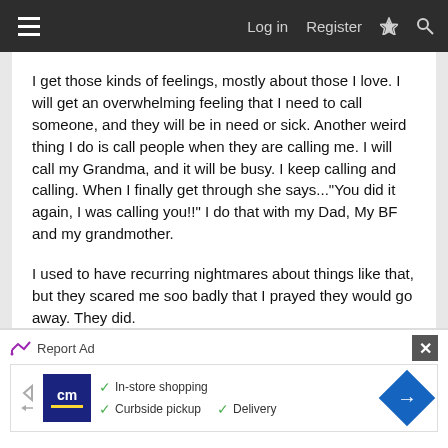Log in  Register
I get those kinds of feelings, mostly about those I love. I will get an overwhelming feeling that I need to call someone, and they will be in need or sick. Another weird thing I do is call people when they are calling me. I will call my Grandma, and it will be busy. I keep calling and calling. When I finally get through she says..."You did it again, I was calling you!!" I do that with my Dad, My BF and my grandmother.
I used to have recurring nightmares about things like that, but they scared me soo badly that I prayed they would go away. They did.
[Figure (screenshot): Advertisement banner for cm (CM) store showing in-store shopping, curbside pickup, and delivery options with navigation arrow icon]